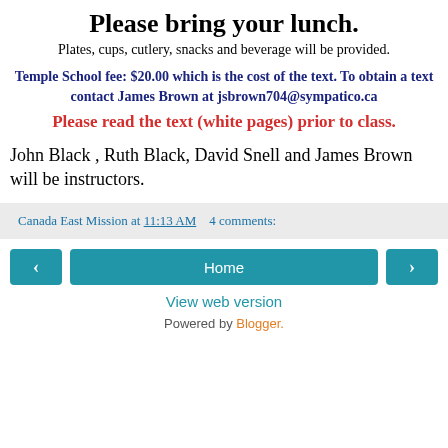Please bring your lunch.
Plates, cups, cutlery, snacks and beverage will be provided.
Temple School fee: $20.00 which is the cost of the text.  To obtain a text  contact James Brown at  jsbrown704@sympatico.ca
Please read the text (white pages) prior to class.
John Black , Ruth Black, David Snell and James Brown will be instructors.
Canada East Mission at 11:13 AM    4 comments:
Home
View web version
Powered by Blogger.